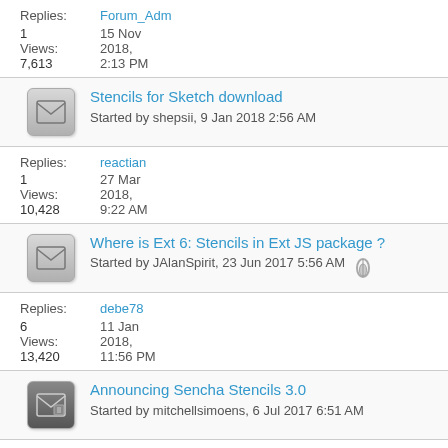Replies: Forum_Adm
1   15 Nov
Views: 2018,
7,613  2:13 PM
Stencils for Sketch download — Started by shepsii, 9 Jan 2018 2:56 AM
Replies: reactian
1   27 Mar
Views: 2018,
10,428  9:22 AM
Where is Ext 6: Stencils in Ext JS package ? — Started by JAlanSpirit, 23 Jun 2017 5:56 AM
Replies: debe78
6   11 Jan
Views: 2018,
13,420  11:56 PM
Announcing Sencha Stencils 3.0 — Started by mitchellsimoens, 6 Jul 2017 6:51 AM